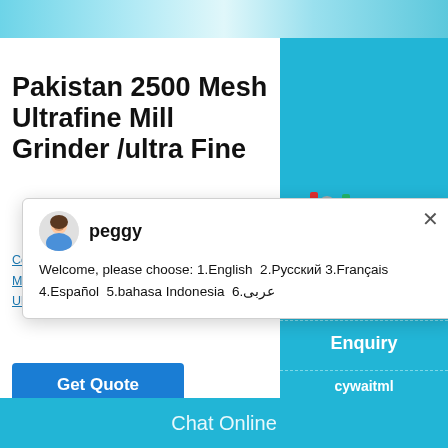[Figure (photo): Top banner image showing industrial grinding/milling equipment in teal/blue tones]
Pakistan 2500 Mesh Ultrafine Mill Grinder /ultra Fine
Complete Details about Pakistan 2500 Mesh Ultrafine Mill Grinder /ultra Fine Grinding Mill /ra... Ultrafine Jet Mill,Ultrafine Mill Grinder,...
[Figure (screenshot): Chat popup with agent 'peggy' showing welcome message: Welcome, please choose: 1.English 2.Русский 3.Français 4.Español 5.bahasa Indonesia 6.عربی]
Get Quote
Enquiry
cywaitml@gmail.com
Chat Online